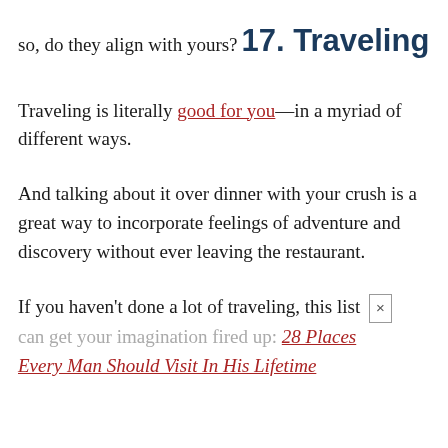so, do they align with yours?
17. Traveling
Traveling is literally good for you—in a myriad of different ways.
And talking about it over dinner with your crush is a great way to incorporate feelings of adventure and discovery without ever leaving the restaurant.
If you haven't done a lot of traveling, this list can get your imagination fired up: 28 Places Every Man Should Visit In His Lifetime